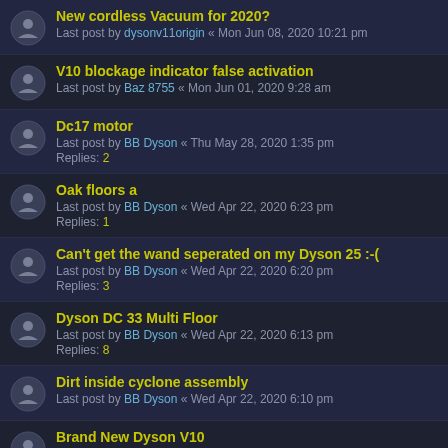New cordless Vacuum for 2020? — Last post by dysonv11origin « Mon Jun 08, 2020 10:21 pm
V10 blockage indicator false activation — Last post by Baz 8755 « Mon Jun 01, 2020 9:28 am
Dc17 motor — Last post by BB Dyson « Thu May 28, 2020 1:35 pm — Replies: 2
Oak floors a — Last post by BB Dyson « Wed Apr 22, 2020 6:23 pm — Replies: 1
Can't get the wand seperated on my Dyson 25 :-( — Last post by BB Dyson « Wed Apr 22, 2020 6:20 pm — Replies: 3
Dyson DC 33 Multi Floor — Last post by BB Dyson « Wed Apr 22, 2020 6:13 pm — Replies: 8
Dirt inside cyclone assembly — Last post by BB Dyson « Wed Apr 22, 2020 6:10 pm
Brand New Dyson V10 — Last post by BB Dyson « Wed Apr 22, 2020 6:05 pm — Replies: 1
Rumours on when we can expect the Dyson 360 Eye v2? — Last post by doberso « Thu Apr 09, 2020 4:06 pm — Replies: 13
Page 1 2